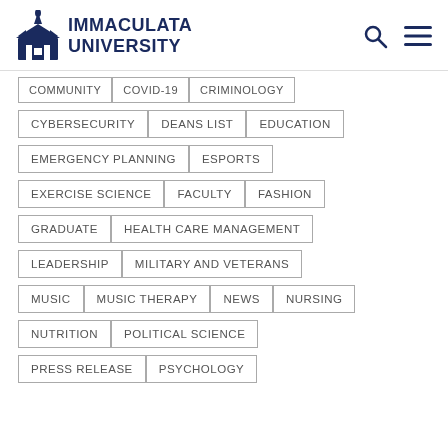[Figure (logo): Immaculata University logo with building icon and text]
COMMUNITY
COVID-19
CRIMINOLOGY
CYBERSECURITY
DEANS LIST
EDUCATION
EMERGENCY PLANNING
ESPORTS
EXERCISE SCIENCE
FACULTY
FASHION
GRADUATE
HEALTH CARE MANAGEMENT
LEADERSHIP
MILITARY AND VETERANS
MUSIC
MUSIC THERAPY
NEWS
NURSING
NUTRITION
POLITICAL SCIENCE
PRESS RELEASE
PSYCHOLOGY